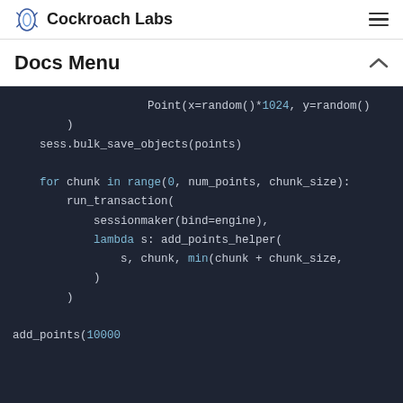Cockroach Labs
Docs Menu
Point(x=random()*1024, y=random())
        )
    sess.bulk_save_objects(points)

    for chunk in range(0, num_points, chunk_size):
        run_transaction(
            sessionmaker(bind=engine),
            lambda s: add_points_helper(
                s, chunk, min(chunk + chunk_size,
            )
        )

add_points(10000